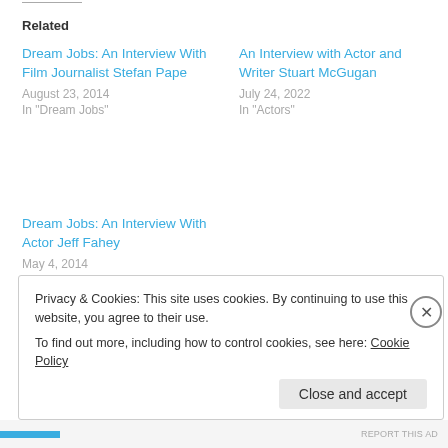Related
Dream Jobs: An Interview With Film Journalist Stefan Pape
August 23, 2014
In "Dream Jobs"
An Interview with Actor and Writer Stuart McGugan
July 24, 2022
In "Actors"
Dream Jobs: An Interview With Actor Jeff Fahey
May 4, 2014
In "Actors"
Privacy & Cookies: This site uses cookies. By continuing to use this website, you agree to their use.
To find out more, including how to control cookies, see here: Cookie Policy
Close and accept